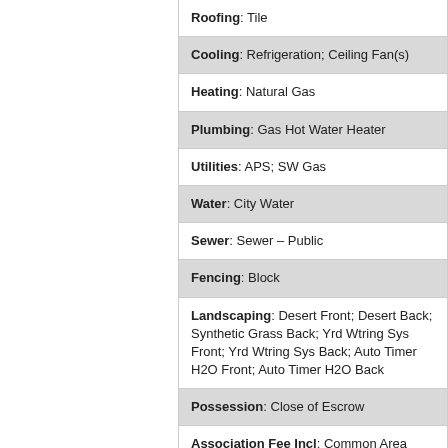Roofing: Tile
Cooling: Refrigeration; Ceiling Fan(s)
Heating: Natural Gas
Plumbing: Gas Hot Water Heater
Utilities: APS; SW Gas
Water: City Water
Sewer: Sewer – Public
Fencing: Block
Landscaping: Desert Front; Desert Back; Synthetic Grass Back; Yrd Wtring Sys Front; Yrd Wtring Sys Back; Auto Timer H2O Front; Auto Timer H2O Back
Possession: Close of Escrow
Association Fee Incl: Common Area Maint